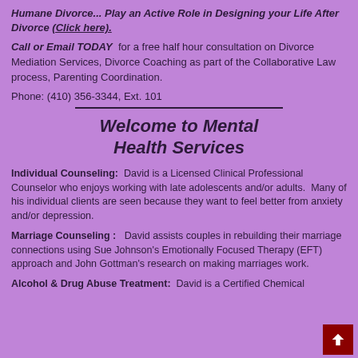Humane Divorce... Play an Active Role in Designing your Life After Divorce (Click here).
Call or Email TODAY for a free half hour consultation on Divorce Mediation Services, Divorce Coaching as part of the Collaborative Law process, Parenting Coordination.
Phone: (410) 356-3344, Ext. 101
Welcome to Mental Health Services
Individual Counseling: David is a Licensed Clinical Professional Counselor who enjoys working with late adolescents and/or adults. Many of his individual clients are seen because they want to feel better from anxiety and/or depression.
Marriage Counseling : David assists couples in rebuilding their marriage connections using Sue Johnson's Emotionally Focused Therapy (EFT) approach and John Gottman's research on making marriages work.
Alcohol & Drug Abuse Treatment: David is a Certified Chemical